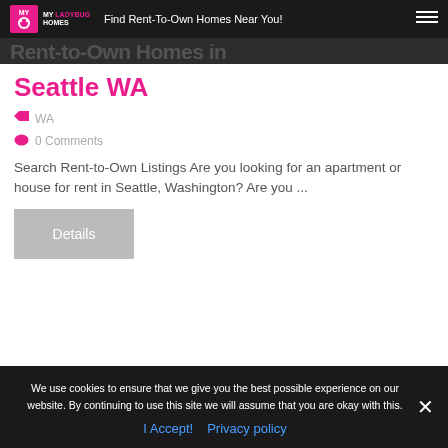MY LADYBUG HOMES | Find Rent-To-Own Homes Near You!
Seattle WA
WA
0 Comments
Search Rent-to-Own Listings Are you looking for an apartment or house for rent in Seattle, Washington? Are you ...
Details
We use cookies to ensure that we give you the best possible experience on our website. By continuing to use this site we will assume that you are okay with this.
I Accept!  Privacy policy